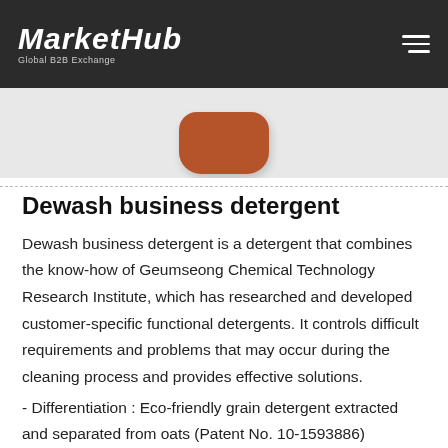MarketHub — Global B2B Exchange
[Figure (photo): Partial view of a brown/terracotta colored soap or detergent bar product against a light grey background]
Dewash business detergent
Dewash business detergent is a detergent that combines the know-how of Geumseong Chemical Technology Research Institute, which has researched and developed customer-specific functional detergents. It controls difficult requirements and problems that may occur during the cleaning process and provides effective solutions.
- Differentiation : Eco-friendly grain detergent extracted and separated from oats (Patent No. 10-1593886)
- Customized detergent : It shows customized washing